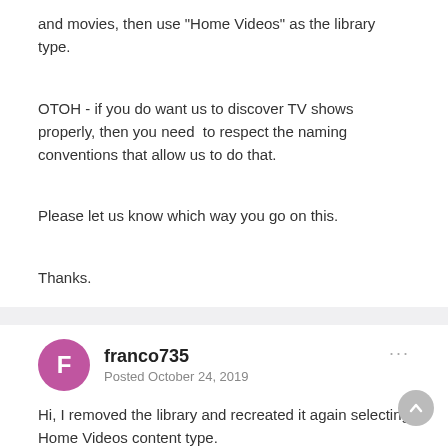and movies, then use "Home Videos" as the library type.
OTOH - if you do want us to discover TV shows properly, then you need to respect the naming conventions that allow us to do that.
Please let us know which way you go on this.
Thanks.
franco735
Posted October 24, 2019
Hi, I removed the library and recreated it again selecting Home Videos content type.